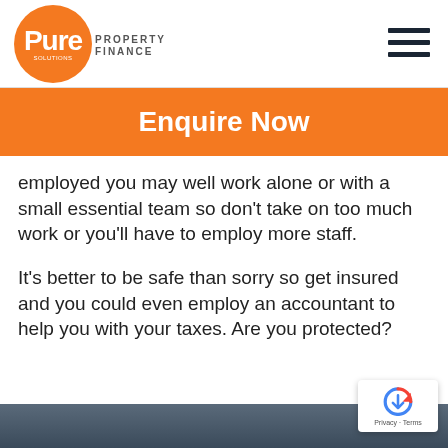Pure Property Finance
Enquire Now
employed you may well work alone or with a small essential team so don't take on too much work or you'll have to employ more staff.
It's better to be safe than sorry so get insured and you could even employ an accountant to help you with your taxes. Are you protected?